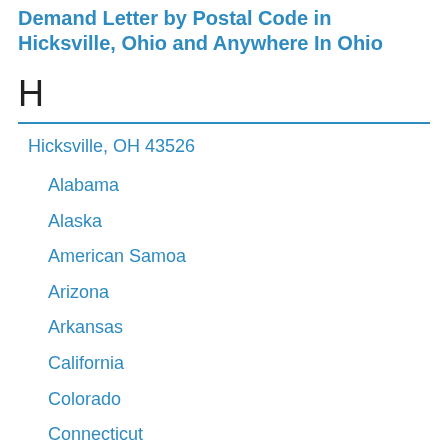Demand Letter by Postal Code in Hicksville, Ohio and Anywhere In Ohio
H
Hicksville, OH 43526
Alabama
Alaska
American Samoa
Arizona
Arkansas
California
Colorado
Connecticut